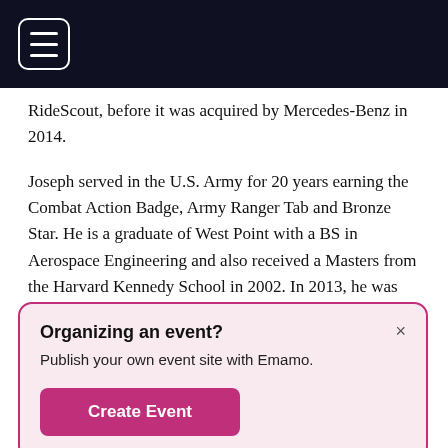[Figure (screenshot): Dark navigation bar with hamburger menu icon (three horizontal lines) in a rounded rectangle]
RideScout, before it was acquired by Mercedes-Benz in 2014.
Joseph served in the U.S. Army for 20 years earning the Combat Action Badge, Army Ranger Tab and Bronze Star. He is a graduate of West Point with a BS in Aerospace Engineering and also received a Masters from the Harvard Kennedy School in 2002. In 2013, he was recognized as a White House Champion of
Organizing an event?
Publish your own event site with Emamo.
Create Event
Texas. Losing by less than 3 points in a heavily